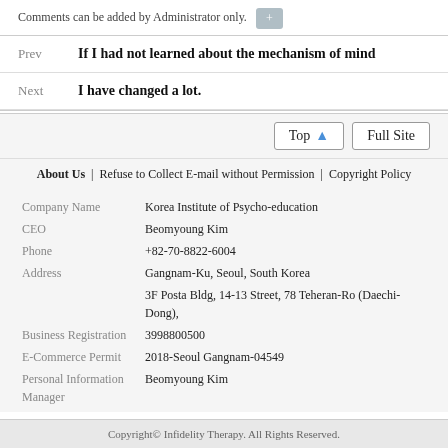Comments can be added by Administrator only.
Prev   If I had not learned about the mechanism of mind
Next   I have changed a lot.
Top   Full Site
About Us | Refuse to Collect E-mail without Permission | Copyright Policy
| Company Name | Korea Institute of Psycho-education |
| CEO | Beomyoung Kim |
| Phone | +82-70-8822-6004 |
| Address | Gangnam-Ku, Seoul, South Korea |
|  | 3F Posta Bldg, 14-13 Street, 78 Teheran-Ro (Daechi-Dong), |
| Business Registration | 3998800500 |
| E-Commerce Permit | 2018-Seoul Gangnam-04549 |
| Personal Information Manager | Beomyoung Kim |
Copyright© Infidelity Therapy. All Rights Reserved.